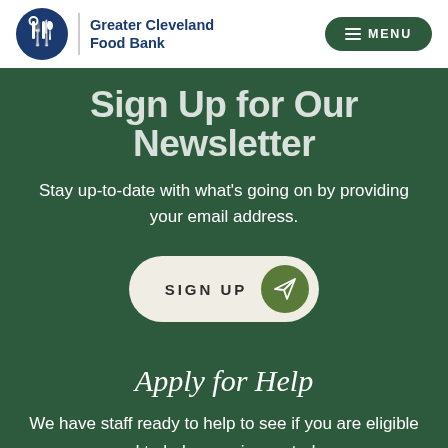Greater Cleveland Food Bank
Sign Up for Our Newsletter
Stay up-to-date with what's going on by providing your email address.
[Figure (other): SIGN UP button with paper airplane icon on dark green background]
Apply for Help
We have staff ready to help to see if you are eligible and to help you sign up today.